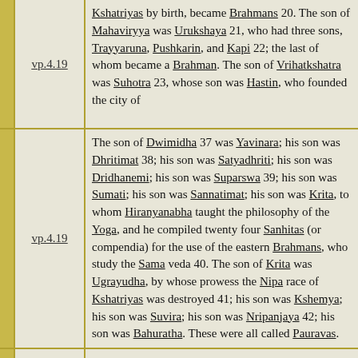|  | Reference | Text |
| --- | --- | --- |
|  | vp.4.19 | Kshatriyas by birth, became Brahmans 20. The son of Mahaviryya was Urukshaya 21, who had three sons, Trayyaruna, Pushkarin, and Kapi 22; the last of whom became a Brahman. The son of Vrihatkshatra was Suhotra 23, whose son was Hastin, who founded the city of |
|  | vp.4.19 | The son of Dwimidha 37 was Yavinara; his son was Dhritimat 38; his son was Satyadhriti; his son was Dridhanemi; his son was Suparswa 39; his son was Sumati; his son was Sannatimat; his son was Krita, to whom Hiranyanabha taught the philosophy of the Yoga, and he compiled twenty four Sanhitas (or compendia) for the use of the eastern Brahmans, who study the Sama veda 40. The son of Krita was Ugrayudha, by whose prowess the Nipa race of Kshatriyas was destroyed 41; his son was Kshemya; his son was Suvira; his son was Nripanjaya 42; his son was Bahuratha. These were all called Pauravas. |
|  |  | [paragraph continues] Mudgala, srinjaya 46, Vrihadishu, Pravira 47, and Kampilya 48. Their father said, "These my five (pancha) sons are able (alam) |